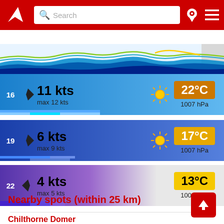[Figure (screenshot): Red app header with logo, search bar, location pin icon, and hamburger menu]
[Figure (continuous-plot): Wind/wave timeline chart showing hours 6 through 15 with colored wave bands]
16  ► 11 kts  max 12 kts  ☀  22°C  1007 hPa
19  ► 6 kts  max 9 kts  ☀  17°C  1007 hPa
22  ◄ 4 kts  max 5 kts  ☽  13°C  1008 hPa
Nearby spots (within 25 km)
Chilthorne Domer